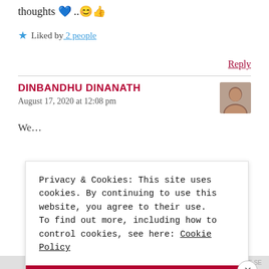thoughts 💙 ..😊👍
★ Liked by 2 people
Reply
DINBANDHU DINANATH
August 17, 2020 at 12:08 pm
Privacy & Cookies: This site uses cookies. By continuing to use this website, you agree to their use. To find out more, including how to control cookies, see here: Cookie Policy
Close and accept